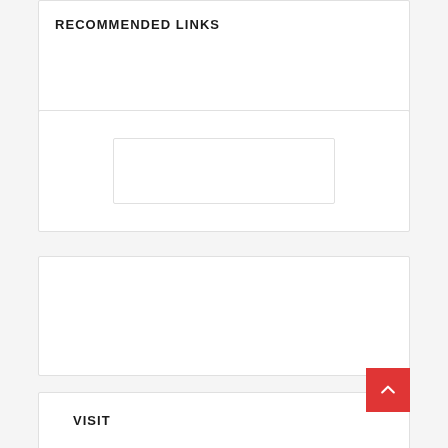RECOMMENDED LINKS
[Figure (other): Empty white card with inner bordered box, representing an ad or embedded content placeholder]
[Figure (other): Empty white card area, representing a content placeholder block]
VISIT